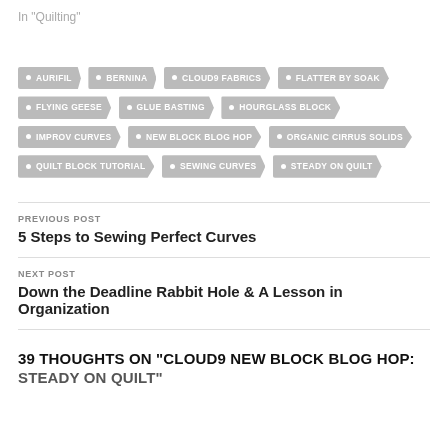In "Quilting"
AURIFIL
BERNINA
CLOUD9 FABRICS
FLATTER BY SOAK
FLYING GEESE
GLUE BASTING
HOURGLASS BLOCK
IMPROV CURVES
NEW BLOCK BLOG HOP
ORGANIC CIRRUS SOLIDS
QUILT BLOCK TUTORIAL
SEWING CURVES
STEADY ON QUILT
PREVIOUS POST
5 Steps to Sewing Perfect Curves
NEXT POST
Down the Deadline Rabbit Hole & A Lesson in Organization
39 THOUGHTS ON “CLOUD9 NEW BLOCK BLOG HOP:
STEADY ON QUILT”